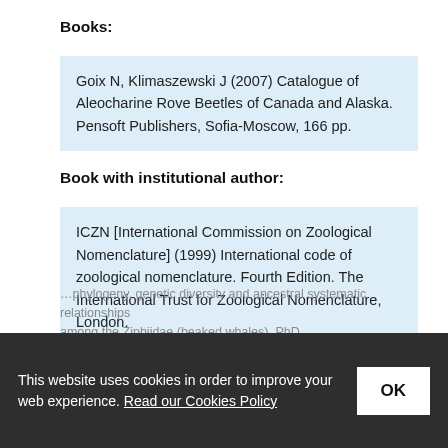Books:
Goix N, Klimaszewski J (2007) Catalogue of Aleocharine Rove Beetles of Canada and Alaska. Pensoft Publishers, Sofia-Moscow, 166 pp.
Book with institutional author:
ICZN [International Commission on Zoological Nomenclature] (1999) International code of zoological nomenclature. Fourth Edition. The International Trust for Zoological Nomenclature, London.
PhD thesis:
This website uses cookies in order to improve your web experience. Read our Cookies Policy
...phylogeny, genetic diversity and ancestral systematic relationships among the Ziphiidae (beaked whales). PhD